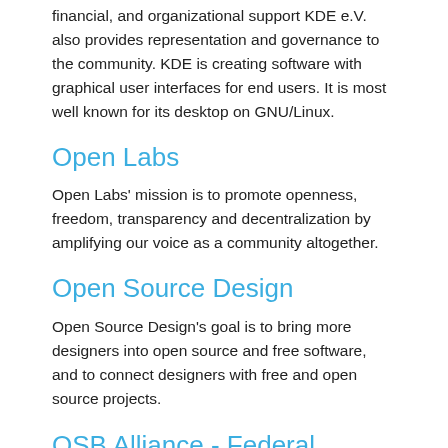financial, and organizational support KDE e.V. also provides representation and governance to the community. KDE is creating software with graphical user interfaces for end users. It is most well known for its desktop on GNU/Linux.
Open Labs
Open Labs' mission is to promote openness, freedom, transparency and decentralization by amplifying our voice as a community altogether.
Open Source Design
Open Source Design's goal is to bring more designers into open source and free software, and to connect designers with free and open source projects.
OSB Alliance - Federal Association for Digital Sovereignty e.V.
The OSB Alliance - Federal Association for Digital Sovereignty e.V. is committed to embedding into the public